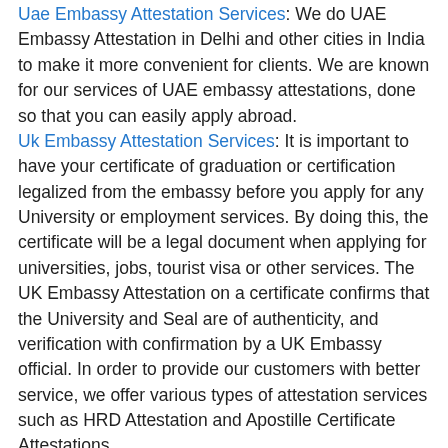Uae Embassy Attestation Services: We do UAE Embassy Attestation in Delhi and other cities in India to make it more convenient for clients. We are known for our services of UAE embassy attestations, done so that you can easily apply abroad.
Uk Embassy Attestation Services: It is important to have your certificate of graduation or certification legalized from the embassy before you apply for any University or employment services. By doing this, the certificate will be a legal document when applying for universities, jobs, tourist visa or other services. The UK Embassy Attestation on a certificate confirms that the University and Seal are of authenticity, and verification with confirmation by a UK Embassy official. In order to provide our customers with better service, we offer various types of attestation services such as HRD Attestation and Apostille Certificate Attestations.
Usa Embassy Attestation Services: No